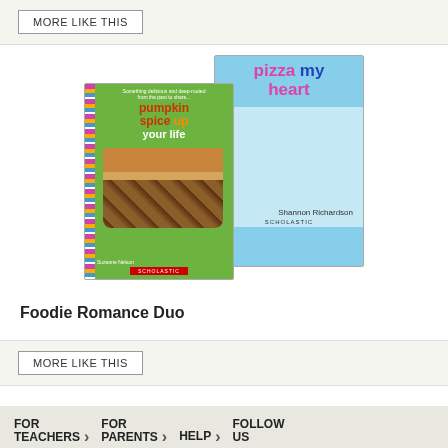MORE LIKE THIS
[Figure (photo): Two book covers shown overlapping: 'Pizza My Heart' (blue cover with girl sitting) behind 'Pumpkin Spice Up Your Life' (green cover with pumpkin spice drink)]
Foodie Romance Duo
MORE LIKE THIS
FOR TEACHERS > FOR PARENTS > HELP > FOLLOW US
[+] Share website feedback